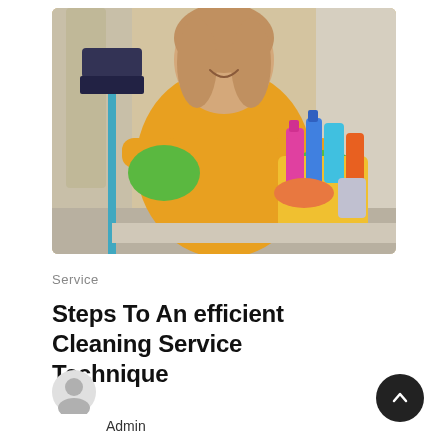[Figure (photo): A smiling woman in a yellow t-shirt and green rubber gloves holding a broom in one hand and a yellow bucket full of colorful cleaning supplies in the other hand. Background is a blurred light interior.]
Service
Steps To An efficient Cleaning Service Technique
[Figure (illustration): Circular user avatar icon in gray]
Admin